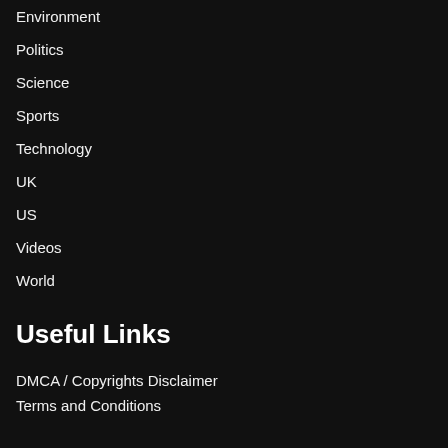Environment
Politics
Science
Sports
Technology
UK
US
Videos
World
Useful Links
DMCA / Copyrights Disclaimer
Terms and Conditions